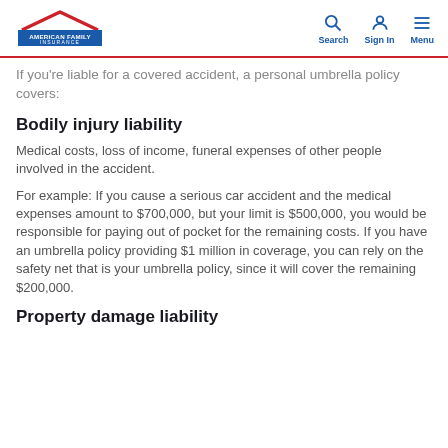American Family Insurance — Search | Sign In | Menu
If you're liable for a covered accident, a personal umbrella policy covers:
Bodily injury liability
Medical costs, loss of income, funeral expenses of other people involved in the accident.
For example: If you cause a serious car accident and the medical expenses amount to $700,000, but your limit is $500,000, you would be responsible for paying out of pocket for the remaining costs. If you have an umbrella policy providing $1 million in coverage, you can rely on the safety net that is your umbrella policy, since it will cover the remaining $200,000.
Property damage liability